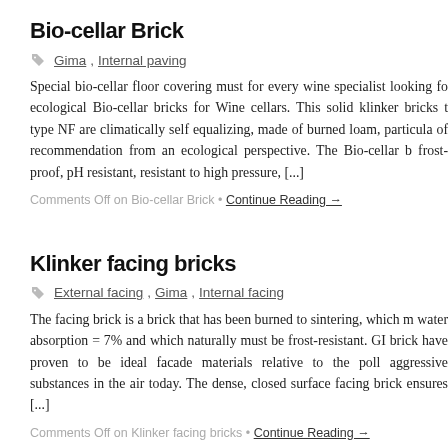Bio-cellar Brick
Gima , Internal paving
Special bio-cellar floor covering must for every wine specialist looking for ecological Bio-cellar bricks for Wine cellars. This solid klinker bricks type NF are climatically self equalizing, made of burned loam, particularly of recommendation from an ecological perspective. The Bio-cellar brick frost-proof, pH resistant, resistant to high pressure, [...]
Comments Off on Bio-cellar Brick • Continue Reading →
Klinker facing bricks
External facing , Gima , Internal facing
The facing brick is a brick that has been burned to sintering, which means water absorption = 7% and which naturally must be frost-resistant. GIMA brick have proven to be ideal facade materials relative to the polluting aggressive substances in the air today. The dense, closed surface of the facing brick ensures [...]
Comments Off on Klinker facing bricks • Continue Reading →